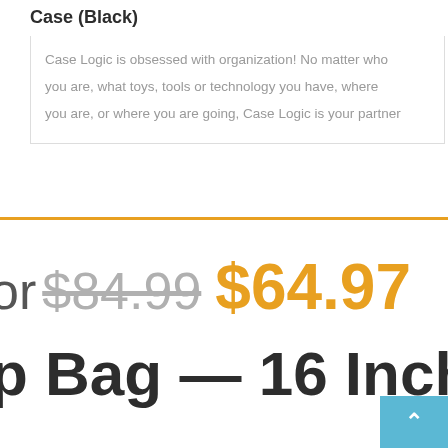Case (Black)
Case Logic is obsessed with organization! No matter who you are, what toys, tools or technology you have, where you are, or where you are going, Case Logic is your partner
or $84.99 $64.97
p Bag — 16 Inch L